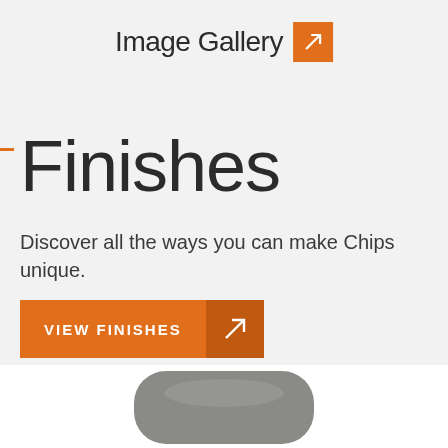Image Gallery
Finishes
Discover all the ways you can make Chips unique.
VIEW FINISHES
[Figure (photo): Partial view of a rounded gray product (chair or similar object) visible at the bottom of the page against a white background.]